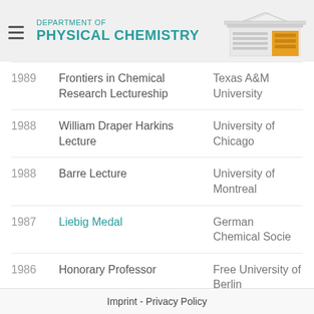DEPARTMENT OF PHYSICAL CHEMISTRY
| Year | Award | Institution |
| --- | --- | --- |
| 1989 | Frontiers in Chemical Research Lectureship | Texas A&M University |
| 1988 | William Draper Harkins Lecture | University of Chicago |
| 1988 | Barre Lecture | University of Montreal |
| 1987 | Liebig Medal | German Chemical Socie |
| 1986 | Honorary Professor | Free University of Berlin |
Imprint - Privacy Policy